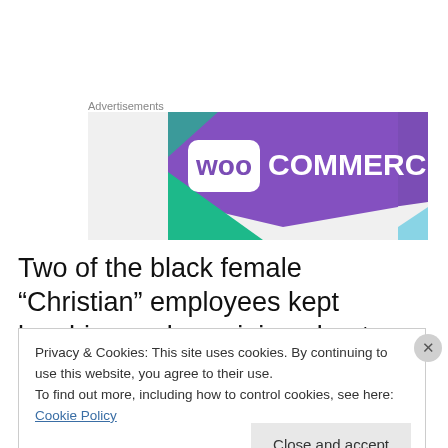Advertisements
[Figure (logo): WooCommerce advertisement banner with purple background, teal accent shape, WooCommerce logo in white text]
Two of the black female “Christian” employees kept laughing and gossiping about me until I asked the one
Privacy & Cookies: This site uses cookies. By continuing to use this website, you agree to their use.
To find out more, including how to control cookies, see here: Cookie Policy
Close and accept